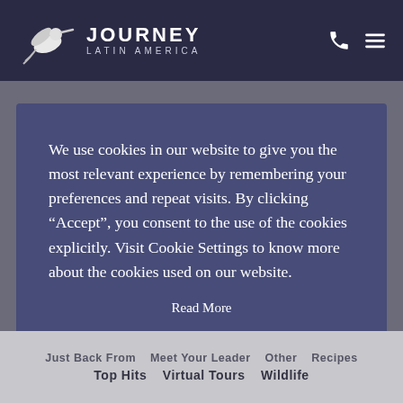[Figure (logo): Journey Latin America logo with hummingbird icon and text]
We use cookies in our website to give you the most relevant experience by remembering your preferences and repeat visits. By clicking “Accept”, you consent to the use of the cookies explicitly. Visit Cookie Settings to know more about the cookies used on our website.
Read More
Necessary   Analytics   Marketing
Cookie settings   ACCEPT
Just Back From   Meet Your Leader   Other   Recipes
Top Hits   Virtual Tours   Wildlife